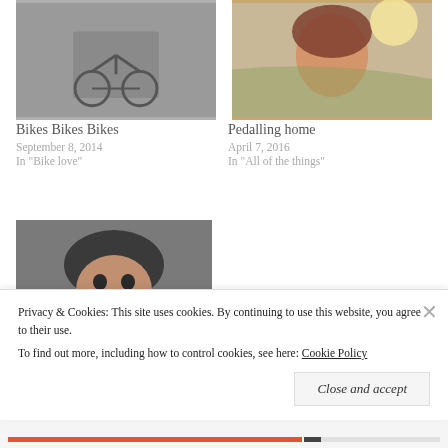[Figure (photo): Person riding a bicycle on a street]
Bikes Bikes Bikes
September 8, 2014
In "Bike love"
[Figure (photo): Woman smiling outdoors with sunlight behind her, wearing a headscarf]
Pedalling home
April 7, 2016
In "All of the things"
[Figure (photo): Person in a cycling helmet drinking from a white cup]
London to Newhaven on my blue bicycle.
Privacy & Cookies: This site uses cookies. By continuing to use this website, you agree to their use.
To find out more, including how to control cookies, see here: Cookie Policy
Close and accept